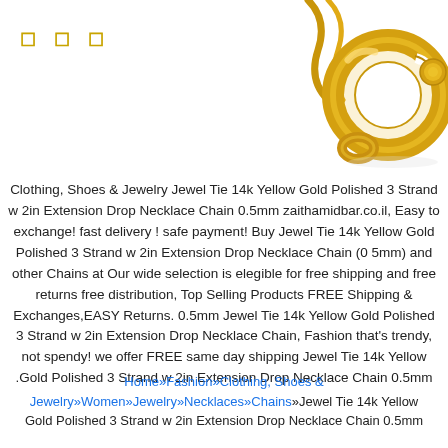חוות זית המדבר
[Figure (photo): Close-up of a shiny yellow gold spring ring clasp for a necklace chain, photographed on white background]
Clothing, Shoes & Jewelry Jewel Tie 14k Yellow Gold Polished 3 Strand w 2in Extension Drop Necklace Chain 0.5mm zaithamidbar.co.il, Easy to exchange! fast delivery ! safe payment! Buy Jewel Tie 14k Yellow Gold Polished 3 Strand w 2in Extension Drop Necklace Chain (0 5mm) and other Chains at Our wide selection is elegible for free shipping and free returns free distribution, Top Selling Products FREE Shipping & Exchanges,EASY Returns. 0.5mm Jewel Tie 14k Yellow Gold Polished 3 Strand w 2in Extension Drop Necklace Chain, Fashion that's trendy, not spendy! we offer FREE same day shipping Jewel Tie 14k Yellow Gold Polished 3 Strand w 2in Extension Drop Necklace Chain 0.5mm.
Home»Fashion»Clothing, Shoes & Jewelry»Women»Jewelry»Necklaces»Chains»Jewel Tie 14k Yellow Gold Polished 3 Strand w 2in Extension Drop Necklace Chain 0.5mm